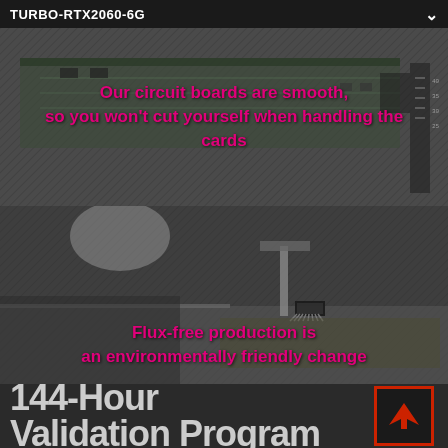TURBO-RTX2060-6G
[Figure (photo): Close-up grayscale photo of a PCB circuit board with overlaid magenta text: 'Our circuit boards are smooth, so you won't cut yourself when handling the cards']
[Figure (photo): Close-up grayscale photo of surface mount component placement process on a PCB, with overlaid magenta text: 'Flux-free production is an environmentally friendly change']
144-Hour Validation Program